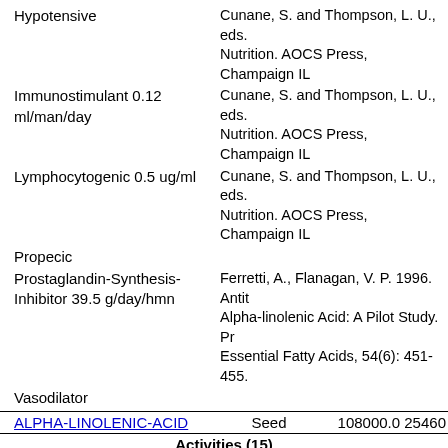Hypotensive
Cunane, S. and Thompson, L. U., eds. Nutrition. AOCS Press, Champaign IL
Immunostimulant 0.12 ml/man/day
Cunane, S. and Thompson, L. U., eds. Nutrition. AOCS Press, Champaign IL
Lymphocytogenic 0.5 ug/ml
Cunane, S. and Thompson, L. U., eds. Nutrition. AOCS Press, Champaign IL
Propecic
Prostaglandin-Synthesis-Inhibitor 39.5 g/day/hmn
Ferretti, A., Flanagan, V. P. 1996. Antit Alpha-linolenic Acid: A Pilot Study. Pr Essential Fatty Acids, 54(6): 451-455.
Vasodilator
ALPHA-LINOLENIC-ACID  Seed  108000.0 25460
Activities (15)
5-Alpha-Reductase-Inhibitor
Antiaggregant
Cunane, S. and Thompson, L. U., eds. Nutrition. AOCS Press, Champaign IL
Antihypertensive
Antiinflammatory IC50=42 uM
Antileukotriene-D4 IC50=42 uM